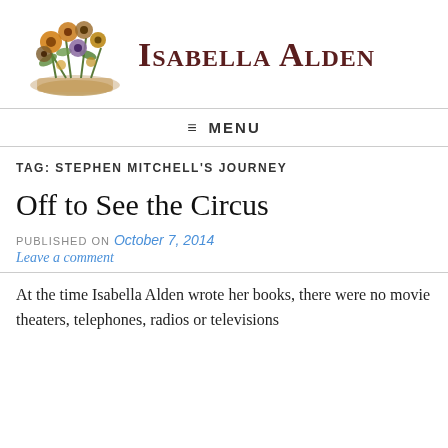[Figure (logo): Isabella Alden website header with a floral arrangement illustration on the left and decorative serif text 'Isabella Alden' on the right in dark red/brown color]
≡ MENU
TAG: STEPHEN MITCHELL'S JOURNEY
Off to See the Circus
PUBLISHED ON October 7, 2014
Leave a comment
At the time Isabella Alden wrote her books, there were no movie theaters, telephones, radios or televisions